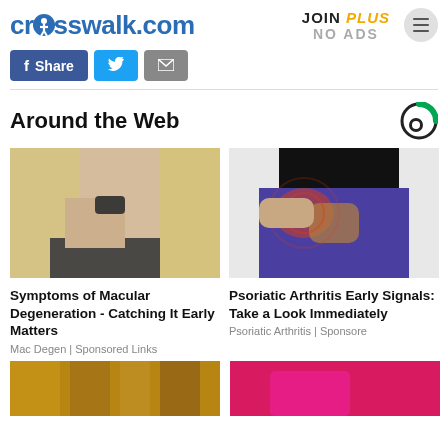crosswalk.com | JOIN PLUS NO ADS
[Figure (screenshot): Share buttons: Facebook Share, Twitter, Email]
Around the Web
[Figure (photo): Woman rubbing her eye - macular degeneration ad image]
Symptoms of Macular Degeneration - Catching It Early Matters
Mac Degen | Sponsored Links
[Figure (photo): Person holding hip in pain - psoriatic arthritis ad image]
Psoriatic Arthritis Early Signals: Take a Look Immediately
Psoriatic Arthritis | Sponsore
[Figure (photo): Bottom left partial image - wooden/gold tones]
[Figure (photo): Bottom right partial image - pink/magenta tones]